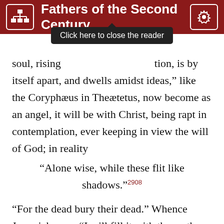Fathers of the Second Century
soul, rising [Click here to close the reader] tion, is by itself apart, and dwells amidst ideas,” like the Coryphæus in Theætetus, now become as an angel, it will be with Christ, being rapt in contemplation, ever keeping in view the will of God; in reality
“Alone wise, while these flit like shadows.”²⁹⁰⁸
“For the dead bury their dead.” Whence Jeremiah says: “I will fill it with the earth-born dead whom mine anger has smitten.”²⁹⁰⁹
God, then, being not a subject for demonstration, cannot be the object of science. But